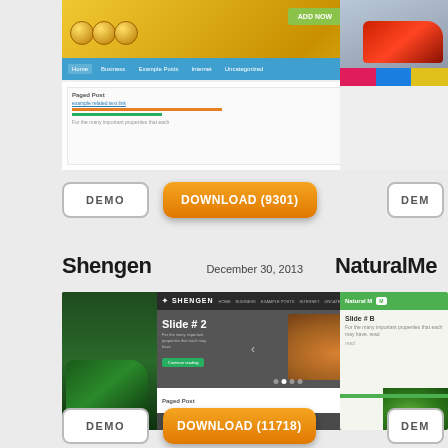[Figure (screenshot): WordPress theme preview screenshot (top, partially visible) showing gold coins header, nav bar, and content panels]
[Figure (screenshot): Partially visible right-column theme preview with red car image]
DEMO
DOWNLOAD (9301)
DEM
Shengen
December 30, 2013
NaturalMe
[Figure (screenshot): Shengen WordPress theme preview showing dark header, slider with car image, 'Slide # 2' text, and footer with Paged Post]
[Figure (screenshot): NaturalMe WordPress theme preview (partially visible) with green header, Slide # text, and green plant image]
DEMO
DOWNLOAD (11718)
DEM